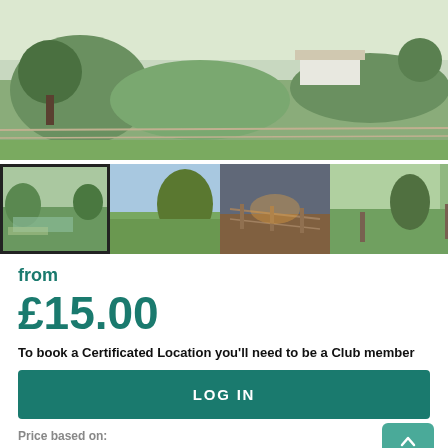[Figure (photo): Main large landscape photo showing green countryside with trees, hedges, farm buildings in the background]
[Figure (photo): Row of thumbnail photos: 1) countryside with water/river view (selected, bordered), 2) green field with trees and blue sky, 3) rural path/fence at sunset, 4) green field with fence post, 5) partial view of fence/field]
from
£15.00
To book a Certificated Location you'll need to be a Club member
LOG IN
Price based on: Please contact the site directly for details
Ideal for ...
Dogs
Peaceful stays